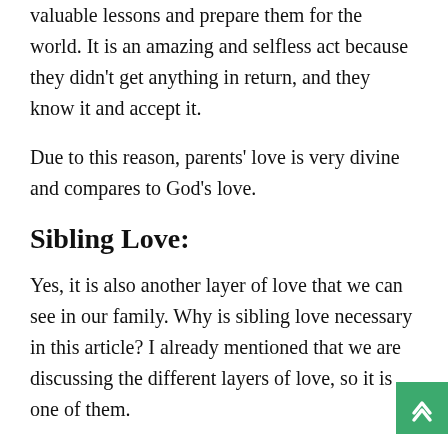valuable lessons and prepare them for the world. It is an amazing and selfless act because they didn't get anything in return, and they know it and accept it.
Due to this reason, parents' love is very divine and compares to God's love.
Sibling Love:
Yes, it is also another layer of love that we can see in our family. Why is sibling love necessary in this article? I already mentioned that we are discussing the different layers of love, so it is one of them.
After Parents' love, we can say that the other part is sibling love; it is between the parents' love and friendship. There is a different kind of fun where you tickle your sibling, tease them, and fight with them, but you still love each other like no one else.